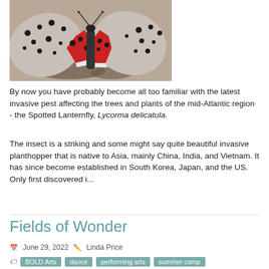[Figure (photo): Close-up photo of a Spotted Lanternfly (Lycorma delicatula) showing its distinctive spotted wings with red underwings, resting on a surface.]
By now you have probably become all too familiar with the latest invasive pest affecting the trees and plants of the mid-Atlantic region - the Spotted Lanternfly, Lycorma delicatula.
The insect is a striking and some might say quite beautiful invasive planthopper that is native to Asia, mainly China, India, and Vietnam. It has since become established in South Korea, Japan, and the US. Only first discovered i...
Read More
Fields of Wonder
June 29, 2022  Linda Price
BOLD Arts  dance  performing arts  summer camp